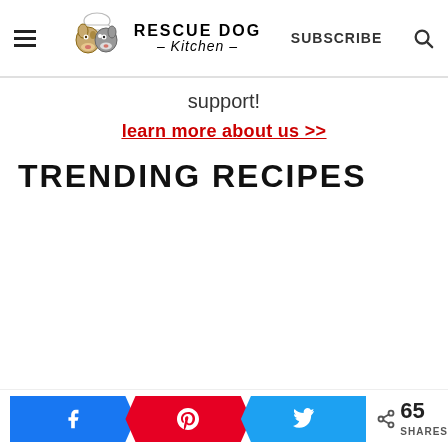Rescue Dog Kitchen — SUBSCRIBE
support!
learn more about us >>
TRENDING RECIPES
65 SHARES (Facebook, Pinterest, Twitter)